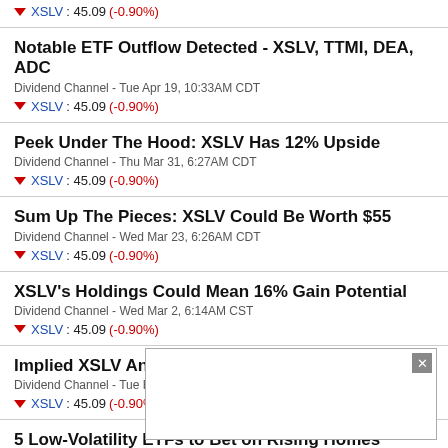XSLV : 45.09 (-0.90%)
Notable ETF Outflow Detected - XSLV, TTMI, DEA, ADC
Dividend Channel - Tue Apr 19, 10:33AM CDT
XSLV : 45.09 (-0.90%)
Peek Under The Hood: XSLV Has 12% Upside
Dividend Channel - Thu Mar 31, 6:27AM CDT
XSLV : 45.09 (-0.90%)
Sum Up The Pieces: XSLV Could Be Worth $55
Dividend Channel - Wed Mar 23, 6:26AM CDT
XSLV : 45.09 (-0.90%)
XSLV's Holdings Could Mean 16% Gain Potential
Dividend Channel - Wed Mar 2, 6:14AM CST
XSLV : 45.09 (-0.90%)
Implied XSLV Analyst Target Price: $56
Dividend Channel - Tue Feb 22, 8:14AM CST
XSLV : 45.09 (-0.90%)
5 Low-Volatility ETFs to Bet on Rising Homes